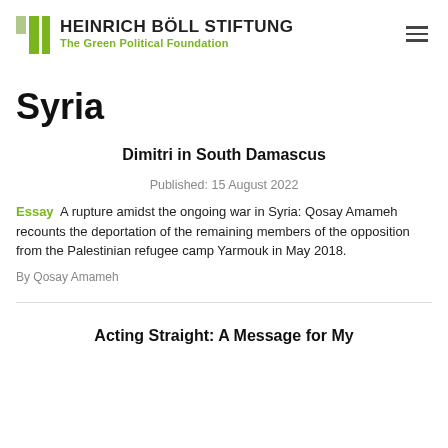HEINRICH BÖLL STIFTUNG The Green Political Foundation
Syria
Dimitri in South Damascus
Published: 15 August 2022
Essay  A rupture amidst the ongoing war in Syria: Qosay Amameh recounts the deportation of the remaining members of the opposition from the Palestinian refugee camp Yarmouk in May 2018.
By Qosay Amameh
Acting Straight: A Message for My